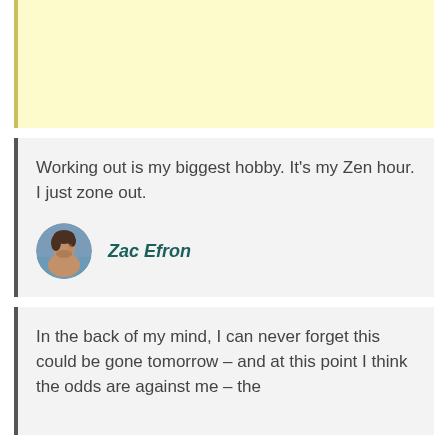[Figure (other): Yellow/cream colored blank rectangle block]
Working out is my biggest hobby. It's my Zen hour. I just zone out.
[Figure (photo): Circular portrait photo of Zac Efron]
Zac Efron
In the back of my mind, I can never forget this could be gone tomorrow – and at this point I think the odds are against me – the